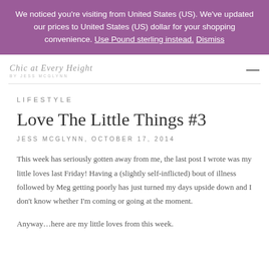We noticed you're visiting from United States (US). We've updated our prices to United States (US) dollar for your shopping convenience. Use Pound sterling instead. Dismiss
Chic at Every Height — By Jess McGlynn
LIFESTYLE
Love The Little Things #3
JESS MCGLYNN, OCTOBER 17, 2014
This week has seriously gotten away from me, the last post I wrote was my little loves last Friday!  Having a (slightly self-inflicted) bout of illness followed by Meg getting poorly has just turned my days upside down and I don't know whether I'm coming or going at the moment.
Anyway…here are my little loves from this week.